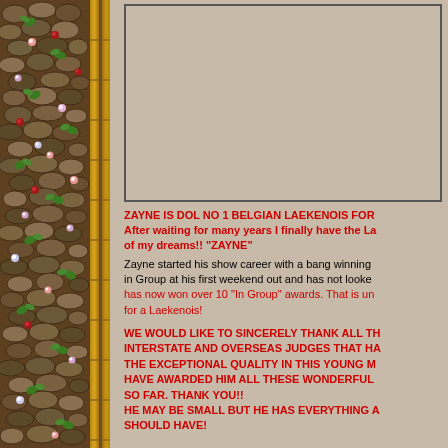[Figure (illustration): Decorative left border with cobblestone/pebble texture in brown/olive tones with green ivy leaves and small pink, white, and red flowers, with vertical bamboo-like strips on the right edge of the border.]
[Figure (photo): Empty photo placeholder box with border, presumably showing a Belgian Laekenois dog named Zayne.]
ZAYNE IS DOL NO 1 BELGIAN LAEKENOIS FOR After waiting for many years I finally have the La of my dreams!! "ZAYNE"
Zayne started his show career with a bang winning in Group at his first weekend out and has not looke has now won over 10 "In Group" awards. That is un for a Laekenois!
WE WOULD LIKE TO SINCERELY THANK ALL TH INTERSTATE AND OVERSEAS JUDGES THAT HA THE EXCEPTIONAL QUALITY IN THIS YOUNG M HAVE AWARDED HIM ALL THESE WONDERFUL SO FAR. THANK YOU!! HE MAY BE SMALL BUT HE HAS EVERYTHING A SHOULD HAVE!